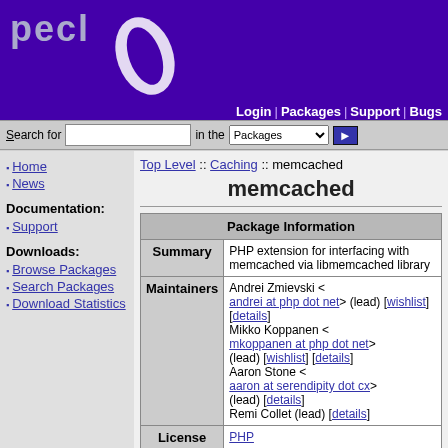[Figure (logo): PECL logo with white swoosh on purple background]
Login | Packages | Support | Bugs
Search for [input] in the Packages [dropdown] [go]
Home
News
Documentation:
Support
Downloads:
Browse Packages
Search Packages
Download Statistics
Top Level :: Caching :: memcached
memcached
| Package Information |
| --- |
| Summary | PHP extension for interfacing with memcached via libmemcached library |
| Maintainers | Andrei Zmievski < andrei at php dot net> (lead) [wishlist] [details]
Mikko Koppanen < mkoppanen at php dot net> (lead) [wishlist] [details]
Aaron Stone < aaron at serendipity dot cx> (lead) [details]
Remi Collet (lead) [details] |
| License | PHP |
| Description | This extension uses... |